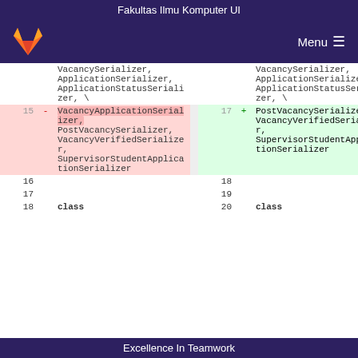Fakultas Ilmu Komputer UI
[Figure (logo): GitLab fox logo and Menu button on dark purple navigation bar]
| Line (old) | Sign | Code (old) |  | Line (new) | Sign | Code (new) |
| --- | --- | --- | --- | --- | --- | --- |
|  |  | VacancySerializ
er,
ApplicationSeri
alizer,
ApplicationStat
usSerializer, \ |  |  |  | VacancySerializ
er,
ApplicationSeri
alizer,
ApplicationStat
usSerializer, \ |
| 15 | - | VacancyApplicat
ionSerializer,
PostVacancySeri
alizer,
VacancyVerified
Serializer,
SupervisorStude
ntApplicationSe
rializer |  | 17 | + | PostVacancySeri
alizer,
VacancyVerified
Serializer,
SupervisorStude
ntApplicationSe
rializer |
| 16 |  |  |  | 18 |  |  |
| 17 |  |  |  | 19 |  |  |
| 18 |  | class |  | 20 |  | class |
Excellence In Teamwork